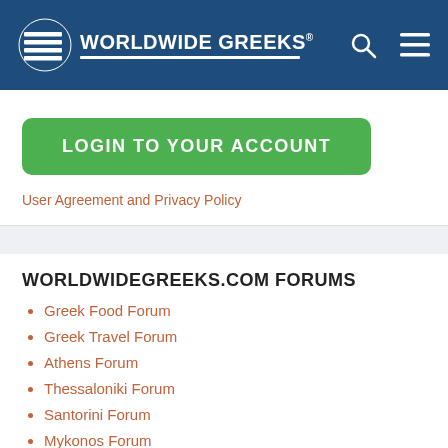Worldwide Greeks
LOGIN TO YOUR ACCOUNT
User Agreement and Privacy Policy
WORLDWIDEGREEKS.COM FORUMS
Greek Food Forum
Greek Travel Forum
Athens Forum
Thessaloniki Forum
Santorini Forum
Mykonos Forum
Crete Forum
Corfu Forum